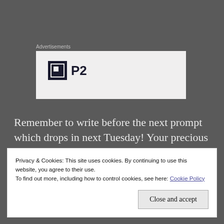Advertisements
[Figure (logo): P2 logo with dark square icon containing a smaller white square, and bold text 'P2' to the right, on a light gray background advertisement box]
Remember to write before the next prompt which drops in next Tuesday! Your precious thoughts are always more than welcome.
Privacy & Cookies: This site uses cookies. By continuing to use this website, you agree to their use.
To find out more, including how to control cookies, see here: Cookie Policy
Close and accept